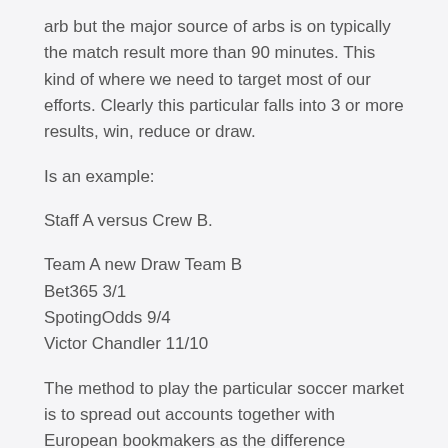arb but the major source of arbs is on typically the match result more than 90 minutes. This kind of where we need to target most of our efforts. Clearly this particular falls into 3 or more results, win, reduce or draw.
Is an example:
Staff A versus Crew B.
Team A new Draw Team B
Bet365 3/1
SpotingOdds 9/4
Victor Chandler 11/10
The method to play the particular soccer market is to spread out accounts together with European bookmakers as the difference throughout opinion between BRITISH and European bookies is a good